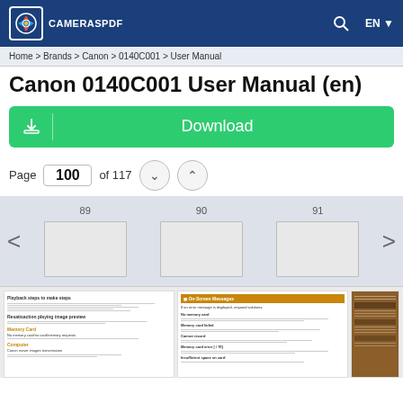CAMERASPDF — EN
Home > Brands > Canon > 0140C001 > User Manual
Canon 0140C001 User Manual (en)
Download
Page 100 of 117
[Figure (screenshot): Thumbnail strip showing pages 89, 90, 91 of the Canon user manual with left/right navigation arrows]
[Figure (screenshot): Document page thumbnails preview showing three partial pages of the Canon 0140C001 user manual content]